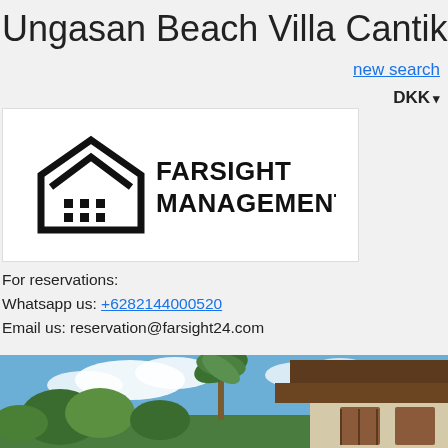Ungasan Beach Villa Cantik
new search
DKK ▾
[Figure (logo): Farsight Management logo with house/chevron icon and text FARSIGHT MANAGEMENT]
For reservations:
Whatsapp us: +6282144000520
Email us: reservation@farsight24.com
[Figure (photo): Exterior photo of a tropical beach villa with palm trees, blue sky with clouds, wooden roof structure visible on right, lush tropical garden in foreground]